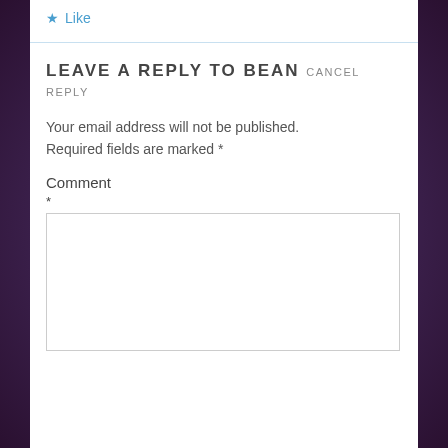[Figure (screenshot): Like button with blue star icon and 'Like' text in blue]
LEAVE A REPLY TO BEAN CANCEL REPLY
Your email address will not be published. Required fields are marked *
Comment
*
[Figure (screenshot): Comment text input box]